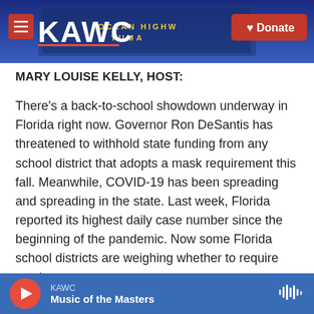[Figure (screenshot): KAWC radio station header banner with logo, hamburger menu button, and red Donate button. Background shows a nighttime outdoor sign with 'OCEAN HIGHWAY' and 'YUMA' text in yellow.]
MARY LOUISE KELLY, HOST:
There's a back-to-school showdown underway in Florida right now. Governor Ron DeSantis has threatened to withhold state funding from any school district that adopts a mask requirement this fall. Meanwhile, COVID-19 has been spreading and spreading in the state. Last week, Florida reported its highest daily case number since the beginning of the pandemic. Now some Florida school districts are weighing whether to require masks anyway,
KAWC  Music of the Masters